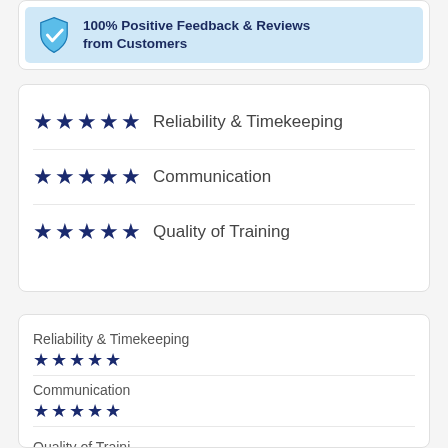[Figure (infographic): Light blue banner with a shield checkmark icon and bold text reading '100% Positive Feedback & Reviews from Customers']
★★★★★ Reliability & Timekeeping
★★★★★ Communication
★★★★★ Quality of Training
Reliability & Timekeeping ★★★★★
Communication ★★★★★
Quality of Training